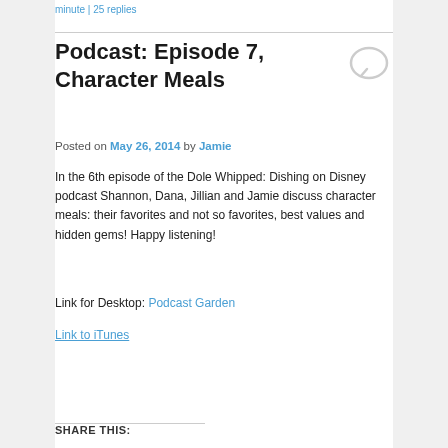minute | 25 replies
Podcast: Episode 7, Character Meals
Posted on May 26, 2014 by Jamie
In the 6th episode of the Dole Whipped: Dishing on Disney podcast Shannon, Dana, Jillian and Jamie discuss character meals: their favorites and not so favorites, best values and hidden gems! Happy listening!
Link for Desktop: Podcast Garden
Link to iTunes
SHARE THIS: